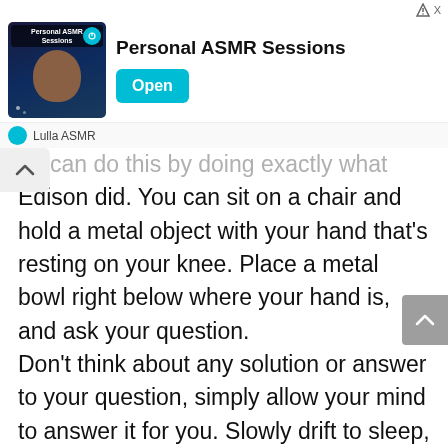[Figure (screenshot): Ad banner for 'Personal ASMR Sessions' app featuring a man's photo thumbnail, cyan 'Open' button, and 'Lulla ASMR' branding at bottom]
ou can do this by doing exactly what Edison did. You can sit on a chair and hold a metal object with your hand that's resting on your knee. Place a metal bowl right below where your hand is, and ask your question. Don't think about any solution or answer to your question, simply allow your mind to answer it for you. Slowly drift to sleep, and as soon as the metal object hits the metal bowl, you will immediately be awakened, and your subconsciou...